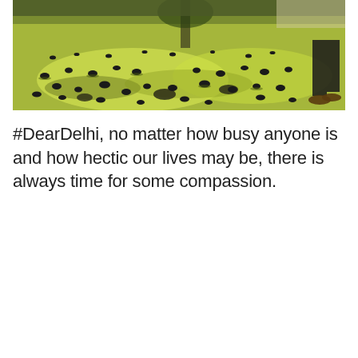[Figure (photo): Outdoor photograph showing a large flock of dark birds (pigeons/crows) scattered across a sunlit ground covered with grain/seeds. A person's legs and sandaled feet are visible on the right side. Several bowl-shaped containers are on the ground. The scene appears to be in a public space in Delhi, with vehicles and a tree visible in the background. The image has a warm yellowish-green tinted look.]
#DearDelhi, no matter how busy anyone is and how hectic our lives may be, there is always time for some compassion.